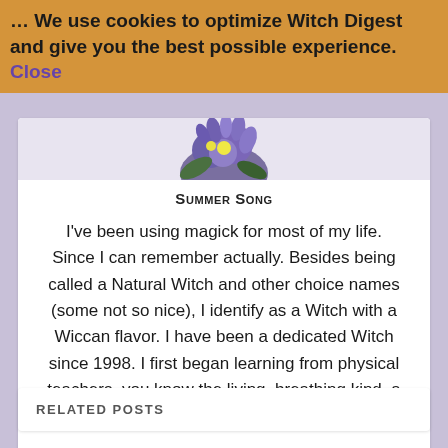… We use cookies to optimize Witch Digest and give you the best possible experience. Close
[Figure (photo): Partial view of purple flowers at top of article card]
Summer Song
I've been using magick for most of my life. Since I can remember actually. Besides being called a Natural Witch and other choice names (some not so nice), I identify as a Witch with a Wiccan flavor. I have been a dedicated Witch since 1998. I first began learning from physical teachers, you know the living, breathing kind, a long time ago.
RELATED POSTS